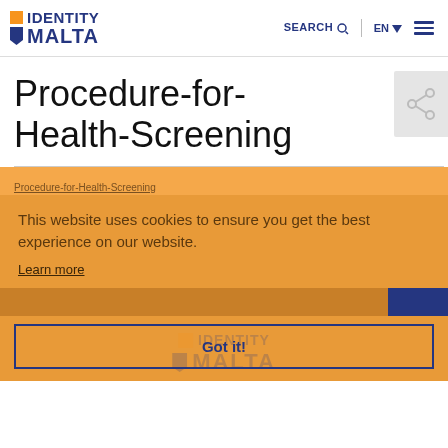[Figure (logo): Identity Malta logo with orange square and blue shield/chevron shape]
SEARCH Q  |  EN ▼  ≡
Procedure-for-Health-Screening
[Figure (illustration): Share/bookmark icon on grey background, top right]
Procedure-for-Health-Screening
This website uses cookies to ensure you get the best experience on our website.
Learn more
Got it!
[Figure (logo): Identity Malta watermark logo in lower portion of orange section]